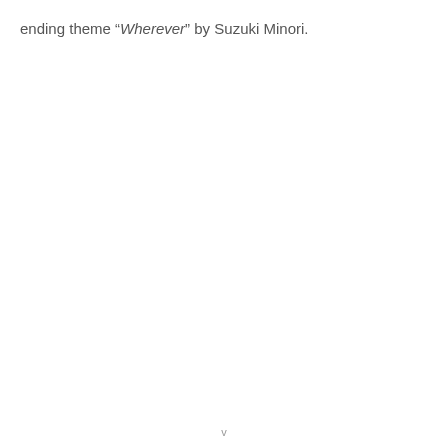ending theme “Wherever” by Suzuki Minori.
v